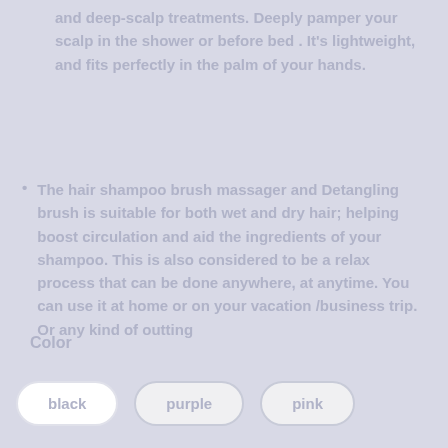and deep-scalp treatments. Deeply pamper your scalp in the shower or before bed . It's lightweight, and fits perfectly in the palm of your hands.
The hair shampoo brush massager and Detangling brush is suitable for both wet and dry hair; helping boost circulation and aid the ingredients of your shampoo. This is also considered to be a relax process that can be done anywhere, at anytime. You can use it at home or on your vacation /business trip. Or any kind of outting
Color
black   purple   pink